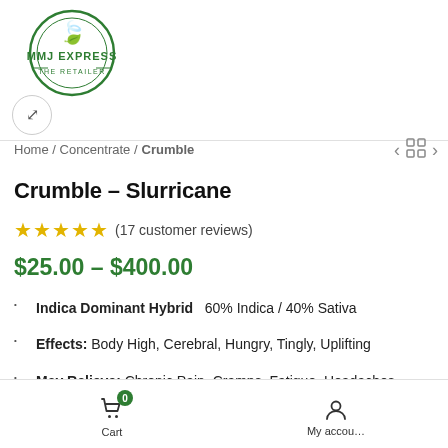[Figure (logo): MMJ Express circular logo with cannabis leaf, green color scheme, text 'MMJ EXPRESS' and 'THE RETAILER']
Home / Concentrate / Crumble
Crumble – Slurricane
★★★★★ (17 customer reviews)
$25.00 – $400.00
Indica Dominant Hybrid   60% Indica / 40% Sativa
Effects: Body High, Cerebral, Hungry, Tingly, Uplifting
May Relieve: Chronic Pain, Cramps, Fatigue, Headaches, Migraines, Muscle Spasms
Cart  My accou...